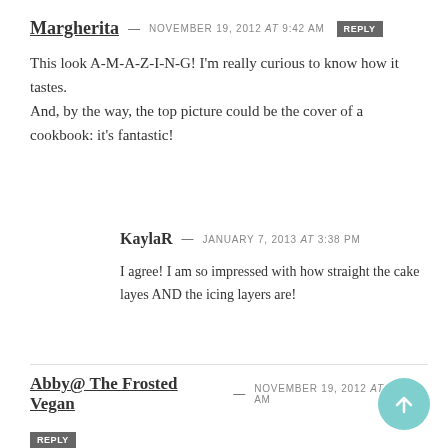Margherita — NOVEMBER 19, 2012 at 9:42 AM [REPLY]
This look A-M-A-Z-I-N-G! I'm really curious to know how it tastes.
And, by the way, the top picture could be the cover of a cookbook: it's fantastic!
KaylaR — JANUARY 7, 2013 at 3:38 PM
I agree! I am so impressed with how straight the cake layes AND the icing layers are!
Abby@ The Frosted Vegan — NOVEMBER 19, 2012 at 9:53 AM [REPLY]